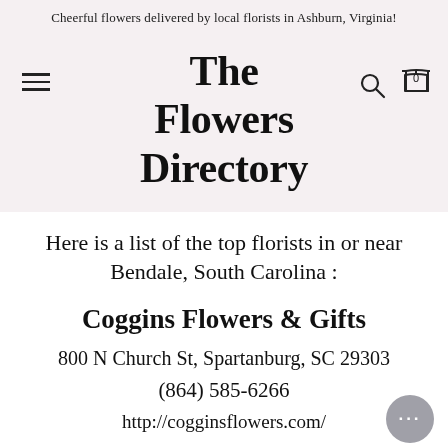Cheerful flowers delivered by local florists in Ashburn, Virginia!
The Flowers Directory
Here is a list of the top florists in or near Bendale, South Carolina :
Coggins Flowers & Gifts
800 N Church St, Spartanburg, SC 29303
(864) 585-6266
http://cogginsflowers.com/